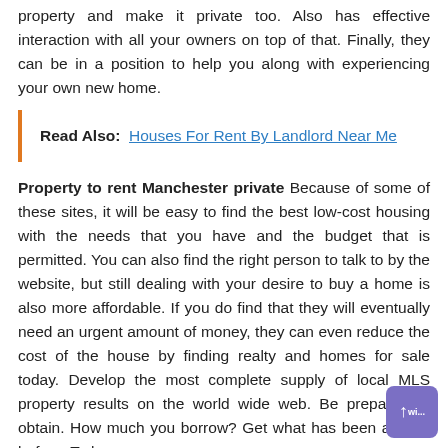property and make it private too. Also has effective interaction with all your owners on top of that. Finally, they can be in a position to help you along with experiencing your own new home.
Read Also:  Houses For Rent By Landlord Near Me
Property to rent Manchester private Because of some of these sites, it will be easy to find the best low-cost housing with the needs that you have and the budget that is permitted. You can also find the right person to talk to by the website, but still dealing with your desire to buy a home is also more affordable. If you do find that they will eventually need an urgent amount of money, they can even reduce the cost of the house by finding realty and homes for sale today. Develop the most complete supply of local MLS property results on the world wide web. Be prepared to obtain. How much you borrow? Get what has been agreed before. To buy a